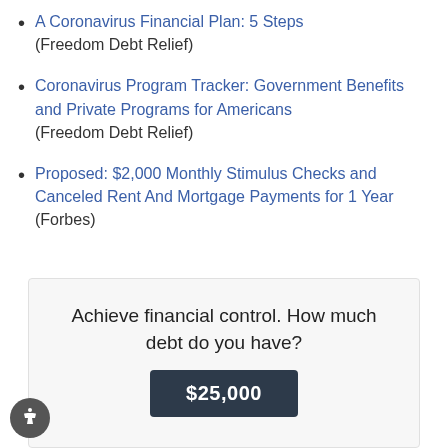A Coronavirus Financial Plan: 5 Steps (Freedom Debt Relief)
Coronavirus Program Tracker: Government Benefits and Private Programs for Americans (Freedom Debt Relief)
Proposed: $2,000 Monthly Stimulus Checks and Canceled Rent And Mortgage Payments for 1 Year (Forbes)
Achieve financial control. How much debt do you have? $25,000